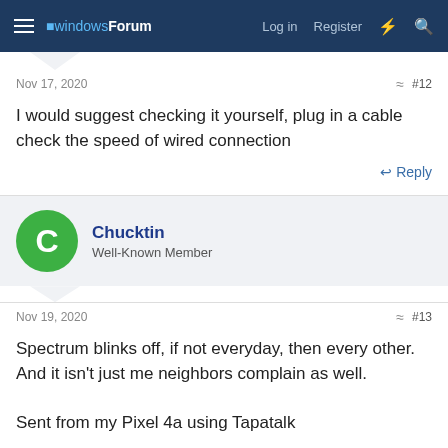windowsForum — Log in  Register
Nov 17, 2020  #12
I would suggest checking it yourself, plug in a cable check the speed of wired connection
↩ Reply
Chucktin
Well-Known Member
Nov 19, 2020  #13
Spectrum blinks off, if not everyday, then every other. And it isn't just me neighbors complain as well.

Sent from my Pixel 4a using Tapatalk
↩ Reply